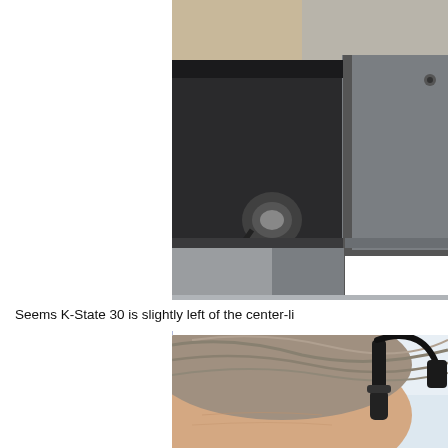[Figure (photo): Close-up photo of what appears to be an aircraft or vehicle interior/exterior component — dark equipment box with cables and connectors visible against a beige/tan surface and gray panel.]
Seems K-State 30 is slightly left of the center-li
[Figure (photo): Close-up photo of the top of a person's head with gray/brown hair, wearing a black headset/headphones, against a light blue-white background.]